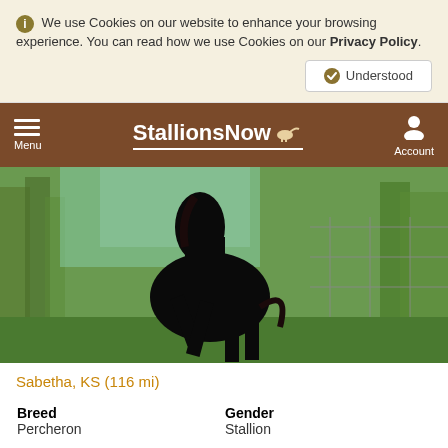We use Cookies on our website to enhance your browsing experience. You can read how we use Cookies on our Privacy Policy.
StallionsNow — Menu | Account
[Figure (photo): Black horse rearing up against a background of green trees and grass]
Sabetha, KS (116 mi)
| Field | Value |
| --- | --- |
| Breed | Percheron |
| Gender | Stallion |
| Color | Black |
| Height (hh) | 18.0 |